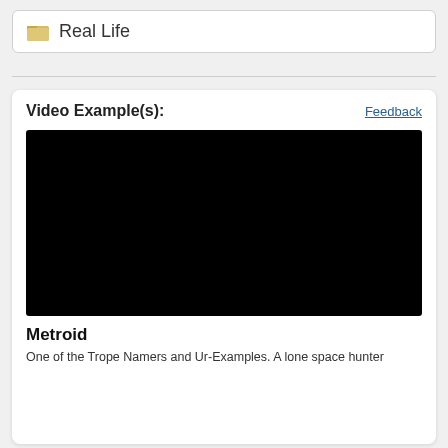Real Life
[Figure (screenshot): Black video player embed area]
Video Example(s):
Feedback
Metroid
One of the Trope Namers and Ur-Examples. A lone space hunter